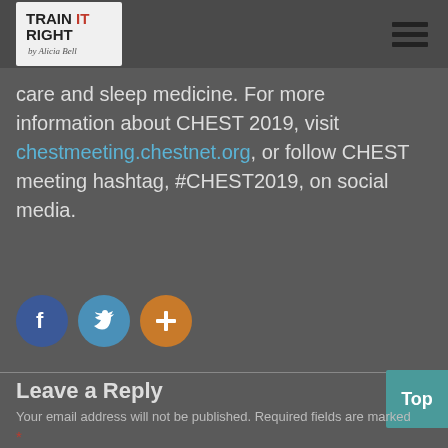Train It Right by Alicia Bell — navigation header
care and sleep medicine. For more information about CHEST 2019, visit chestmeeting.chestnet.org, or follow CHEST meeting hashtag, #CHEST2019, on social media.
[Figure (illustration): Three social share icons: Facebook (blue circle with f), Twitter (blue circle with bird), and a plus/share button (orange circle with +)]
Leave a Reply
Your email address will not be published. Required fields are marked *